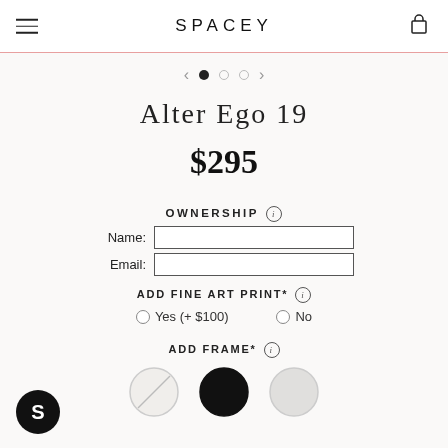SPACEY
[Figure (other): Carousel navigation: left arrow, three dots (first filled, two empty), right arrow]
Alter Ego 19
$295
OWNERSHIP ℹ
Name: [input field]
Email: [input field]
ADD FINE ART PRINT* ℹ
Yes (+ $100)   No
ADD FRAME* ℹ
[Figure (other): Three frame color circles: diagonal-slash (none), black, light gray]